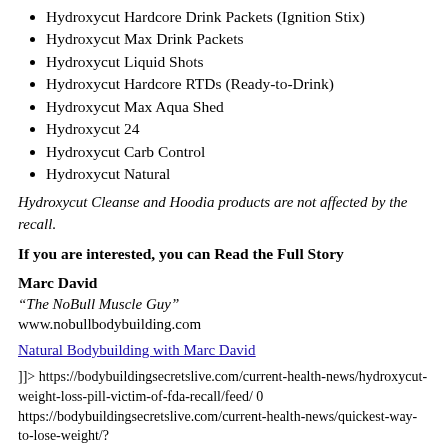Hydroxycut Hardcore Drink Packets (Ignition Stix)
Hydroxycut Max Drink Packets
Hydroxycut Liquid Shots
Hydroxycut Hardcore RTDs (Ready-to-Drink)
Hydroxycut Max Aqua Shed
Hydroxycut 24
Hydroxycut Carb Control
Hydroxycut Natural
Hydroxycut Cleanse and Hoodia products are not affected by the recall.
If you are interested, you can Read the Full Story
Marc David
"The NoBull Muscle Guy"
www.nobullbodybuilding.com
Natural Bodybuilding with Marc David
]]> https://bodybuildingsecretslive.com/current-health-news/hydroxycut-weight-loss-pill-victim-of-fda-recall/feed/ 0 https://bodybuildingsecretslive.com/current-health-news/quickest-way-to-lose-weight/?utm_source=rss&utm_medium=rss&utm_campaign=quickest-way-to-lose-weight https://bodybuildingsecretslive.com/current-